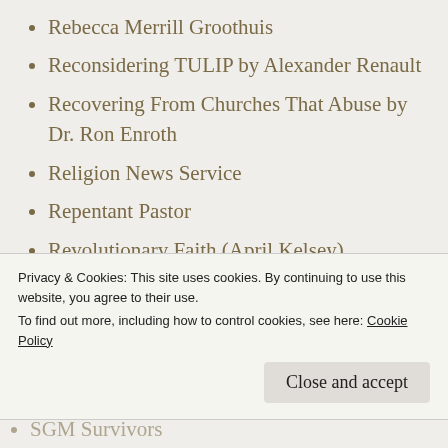Rebecca Merrill Groothuis
Reconsidering TULIP by Alexander Renault
Recovering From Churches That Abuse by Dr. Ron Enroth
Religion News Service
Repentant Pastor
Revolutionary Faith (April Kelsey)
Road To Recovery
Roger E. Olson
Ruth Tucker
S.N.A.P. – Survivors Network (Sexual Abuse)
Privacy & Cookies: This site uses cookies. By continuing to use this website, you agree to their use.
To find out more, including how to control cookies, see here: Cookie Policy
SGM Survivors